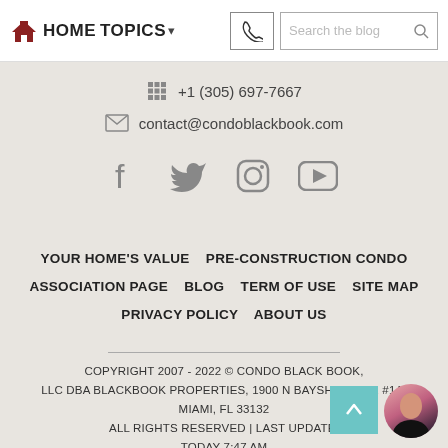HOME   TOPICS ▾   [phone icon]   Search the blog
+1 (305) 697-7667
contact@condoblackbook.com
[Figure (other): Social media icons: Facebook, Twitter, Instagram, YouTube]
YOUR HOME'S VALUE   PRE-CONSTRUCTION CONDO   ASSOCIATION PAGE   BLOG   TERM OF USE   SITE MAP   PRIVACY POLICY   ABOUT US
COPYRIGHT 2007 - 2022 © CONDO BLACK BOOK, LLC DBA BLACKBOOK PROPERTIES, 1900 N BAYSHORE DR #1A, MIAMI, FL 33132 ALL RIGHTS RESERVED | LAST UPDATE: TODAY 7:47 AM